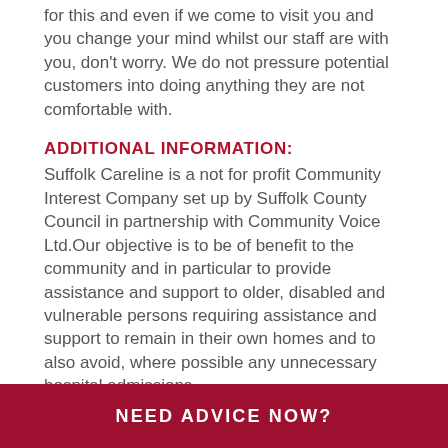for this and even if we come to visit you and you change your mind whilst our staff are with you, don't worry. We do not pressure potential customers into doing anything they are not comfortable with.
ADDITIONAL INFORMATION:
Suffolk Careline is a not for profit Community Interest Company set up by Suffolk County Council in partnership with Community Voice Ltd.Our objective is to be of benefit to the community and in particular to provide assistance and support to older, disabled and vulnerable persons requiring assistance and support to remain in their own homes and to also avoid, where possible any unnecessary hospital admissions.
CLASSIFICATION(S):
Telecare/ Telehealth/ Carelines/ Community alarms, Services and Suppliers, Health & wellbeing services
NEED ADVICE NOW?